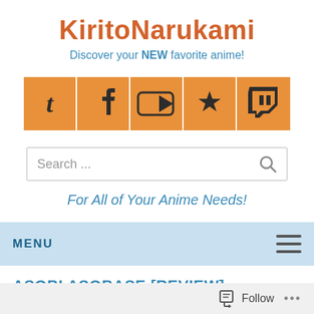KiritoNarukami
Discover your NEW favorite anime!
[Figure (infographic): Row of 5 orange social media icon buttons: Tumblr, Facebook, YouTube, Favorite/Star, Twitch]
Search ...
For All of Your Anime Needs!
MENU
ASOBI ASOBASE [REVIEW]
Follow